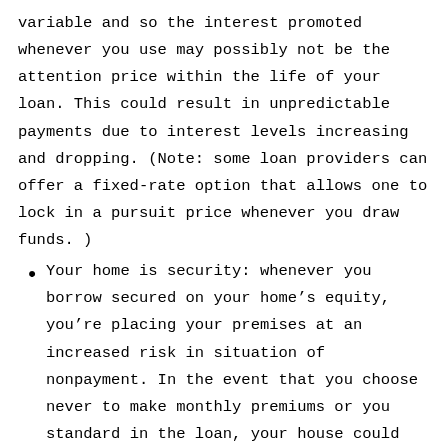variable and so the interest promoted whenever you use may possibly not be the attention price within the life of your loan. This could result in unpredictable payments due to interest levels increasing and dropping. (Note: some loan providers can offer a fixed-rate option that allows one to lock in a pursuit price whenever you draw funds. )
Your home is security: whenever you borrow secured on your home’s equity, you’re placing your premises at an increased risk in situation of nonpayment. In the event that you choose never to make monthly premiums or you standard in the loan, your house could possibly be foreclosed in.
Yearly costs: There may be less charges related to